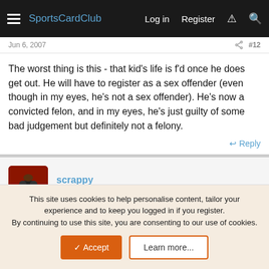SportsCardClub  Log in  Register
Jun 6, 2007  #12
The worst thing is this - that kid's life is f'd once he does get out. He will have to register as a sex offender (even though in my eyes, he's not a sex offender). He's now a convicted felon, and in my eyes, he's just guilty of some bad judgement but definitely not a felony.
Reply
scrappy
Bench Warmer
Jun 7, 2007  #13
This site uses cookies to help personalise content, tailor your experience and to keep you logged in if you register.
By continuing to use this site, you are consenting to our use of cookies.